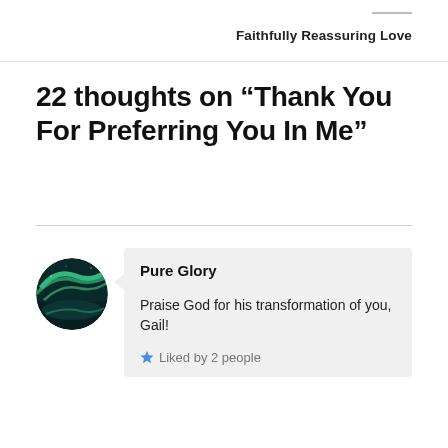Faithfully Reassuring Love
22 thoughts on “Thank You For Preferring You In Me”
Pure Glory
Praise God for his transformation of you, Gail!
Liked by 2 people